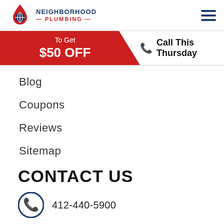[Figure (logo): Neighborhood Plumbing logo with red drop/water icon and company name]
To Get $50 OFF — Call This Thursday
Blog
Coupons
Reviews
Sitemap
CONTACT US
412-440-5900
theneighborhoodplumbing.com